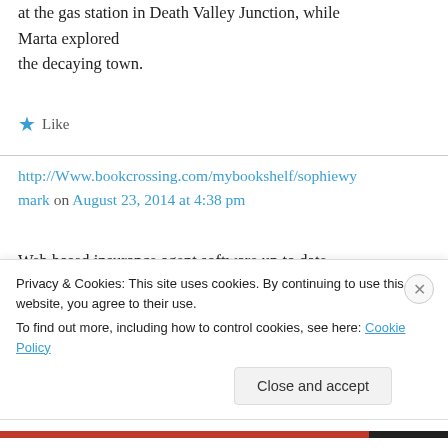at the gas station in Death Valley Junction, while Marta explored the decaying town.
★ Like
http://Www.bookcrossing.com/mybookshelf/sophiewymark on August 23, 2014 at 4:38 pm
Web based insurance agent software up to date since the insurance agent is not a reasonable idea.
Privacy & Cookies: This site uses cookies. By continuing to use this website, you agree to their use.
To find out more, including how to control cookies, see here: Cookie Policy
Close and accept